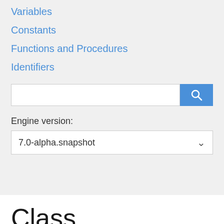Variables
Constants
Functions and Procedures
Identifiers
Engine version:
7.0-alpha.snapshot
Class TMenuItem
Description
Hierarchy
Fields
Methods
Properties